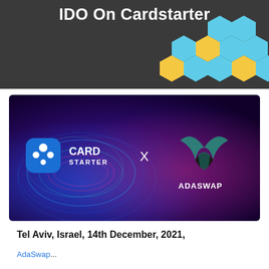IDO On Cardstarter
[Figure (illustration): CardStarter x AdaSwap partnership banner image with swirling colorful lines on purple/blue background, showing CardStarter logo on left and AdaSwap logo on right with X between them]
Tel Aviv, Israel, 14th December, 2021,
AdaSwap ...